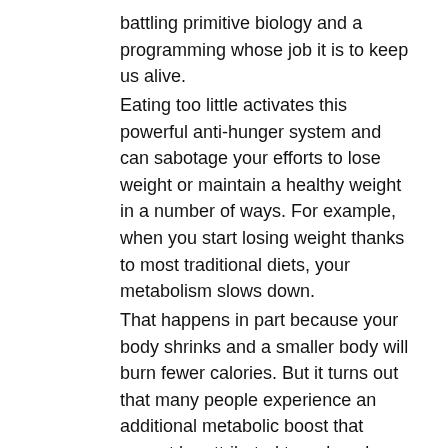battling primitive biology and a programming whose job it is to keep us alive.
Eating too little activates this powerful anti-hunger system and can sabotage your efforts to lose weight or maintain a healthy weight in a number of ways. For example, when you start losing weight thanks to most traditional diets, your metabolism slows down.
That happens in part because your body shrinks and a smaller body will burn fewer calories. But it turns out that many people experience an additional metabolic boost that cannot be attributed to reduced body size.
In fact, the number of calories you burn during the day can decrease by as much as 40 percent. Thanks to this, even if you eat less, you could get stuck with your current weight or start to accumulate it.
May lead to loss of body mass
Eating too little also leads to loss of